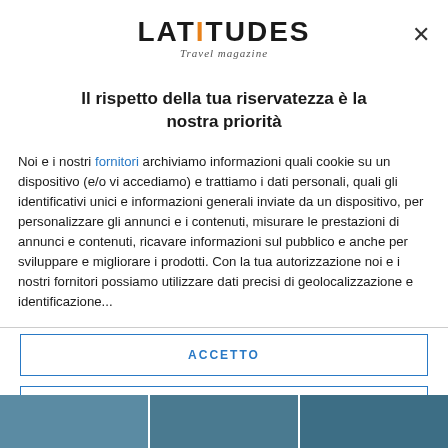[Figure (logo): LATITUDES Travel Magazine logo — bold uppercase LATITUDES with orange I letters, italic tagline below]
Il rispetto della tua riservatezza è la nostra priorità
Noi e i nostri fornitori archiviamo informazioni quali cookie su un dispositivo (e/o vi accediamo) e trattiamo i dati personali, quali gli identificativi unici e informazioni generali inviate da un dispositivo, per personalizzare gli annunci e i contenuti, misurare le prestazioni di annunci e contenuti, ricavare informazioni sul pubblico e anche per sviluppare e migliorare i prodotti. Con la tua autorizzazione noi e i nostri fornitori possiamo utilizzare dati precisi di geolocalizzazione e identificazione...
ACCETTO
PIÙ OPZIONI